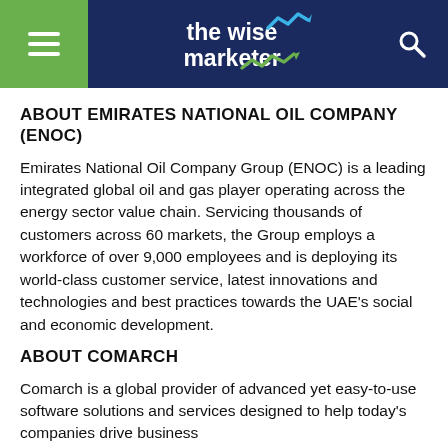the wise marketer
ABOUT EMIRATES NATIONAL OIL COMPANY (ENOC)
Emirates National Oil Company Group (ENOC) is a leading integrated global oil and gas player operating across the energy sector value chain. Servicing thousands of customers across 60 markets, the Group employs a workforce of over 9,000 employees and is deploying its world-class customer service, latest innovations and technologies and best practices towards the UAE's social and economic development.
ABOUT COMARCH
Comarch is a global provider of advanced yet easy-to-use software solutions and services designed to help today's companies drive business